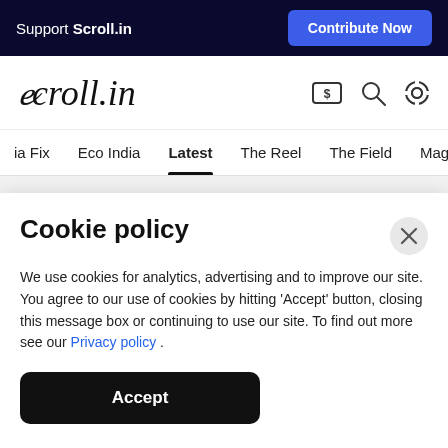Support Scroll.in
Contribute Now
[Figure (logo): Scroll.in logo in italic serif font with search and settings icons]
ia Fix   Eco India   Latest   The Reel   The Field   Magazine
Cookie policy
We use cookies for analytics, advertising and to improve our site. You agree to our use of cookies by hitting ‘Accept’ button, closing this message box or continuing to use our site. To find out more see our Privacy policy .
Accept